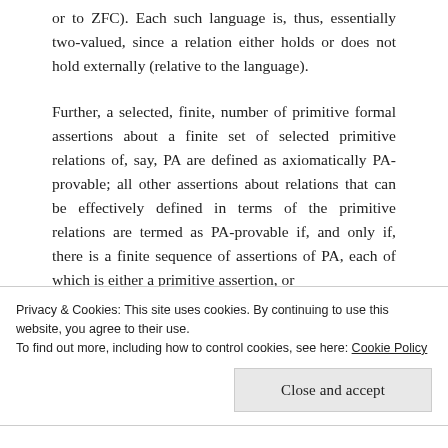or to ZFC). Each such language is, thus, essentially two-valued, since a relation either holds or does not hold externally (relative to the language).
Further, a selected, finite, number of primitive formal assertions about a finite set of selected primitive relations of, say, PA are defined as axiomatically PA-provable; all other assertions about relations that can be effectively defined in terms of the primitive relations are termed as PA-provable if, and only if, there is a finite sequence of assertions of PA, each of which is either a primitive assertion, or
Privacy & Cookies: This site uses cookies. By continuing to use this website, you agree to their use.
To find out more, including how to control cookies, see here: Cookie Policy
Close and accept